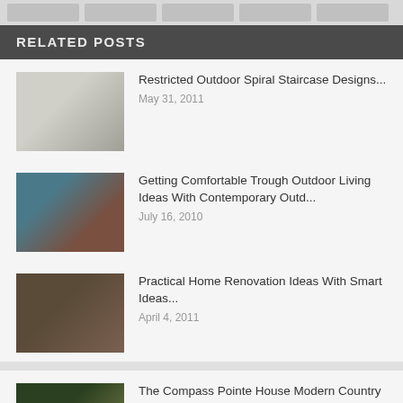RELATED POSTS
Restricted Outdoor Spiral Staircase Designs…
May 31, 2011
Getting Comfortable Trough Outdoor Living Ideas With Contemporary Outd…
July 16, 2010
Practical Home Renovation Ideas With Smart Ideas…
April 4, 2011
The Compass Pointe House Modern Country House Design By Progressive Co…
July 7, 2010
Practical Roof Garden Design For Modern Home Decorating Ideas…